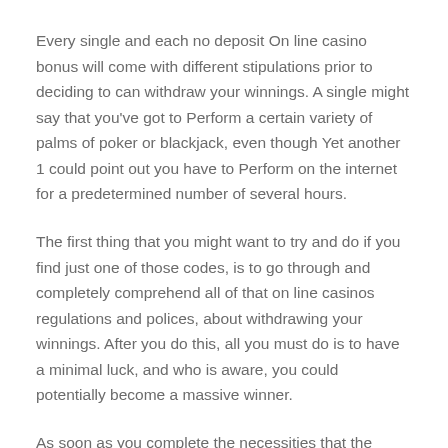Every single and each no deposit On line casino bonus will come with different stipulations prior to deciding to can withdraw your winnings. A single might say that you've got to Perform a certain variety of palms of poker or blackjack, even though Yet another 1 could point out you have to Perform on the internet for a predetermined number of several hours.
The first thing that you might want to try and do if you find just one of those codes, is to go through and completely comprehend all of that on line casinos regulations and polices, about withdrawing your winnings. After you do this, all you must do is to have a minimal luck, and who is aware, you could potentially become a massive winner.
As soon as you complete the necessities that the online casino proven for withdrawing your winnings, all The cash that is definitely in the account may be withdrawn. If all this Appears